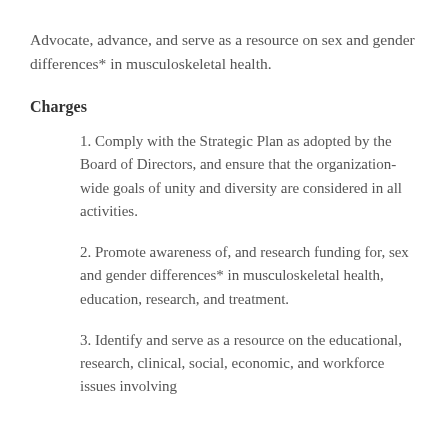Advocate, advance, and serve as a resource on sex and gender differences* in musculoskeletal health.
Charges
1. Comply with the Strategic Plan as adopted by the Board of Directors, and ensure that the organization-wide goals of unity and diversity are considered in all activities.
2. Promote awareness of, and research funding for, sex and gender differences* in musculoskeletal health, education, research, and treatment.
3. Identify and serve as a resource on the educational, research, clinical, social, economic, and workforce issues involving…